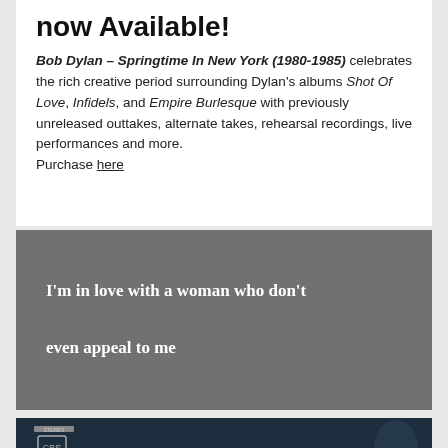now Available!
Bob Dylan – Springtime In New York (1980-1985) celebrates the rich creative period surrounding Dylan's albums Shot Of Love, Infidels, and Empire Burlesque with previously unreleased outtakes, alternate takes, rehearsal recordings, live performances and more. Purchase here
I'm in love with a woman who don't even appeal to me
[Figure (photo): Bob Dylan 1970 album cover image with dark blue background showing artist name in large white letters]